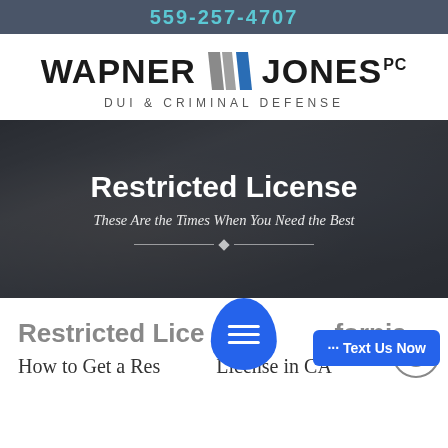559-257-4707
[Figure (logo): Wapner Jones PC DUI & Criminal Defense law firm logo with stylized W icon in gray and blue]
[Figure (photo): Dark overlay hero banner with a blurred background image of someone signing a document, containing heading 'Restricted License' and subtitle 'These Are the Times When You Need the Best' with decorative divider]
Restricted License in California
How to Get a Restricted License in CA